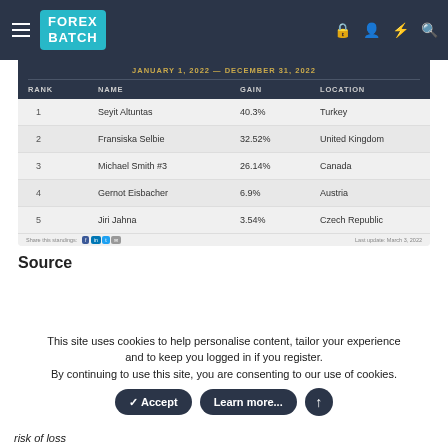FOREX BATCH
JANUARY 1, 2022 — DECEMBER 31, 2022
| RANK | NAME | GAIN | LOCATION |
| --- | --- | --- | --- |
| 1 | Seyit Altuntas | 40.3% | Turkey |
| 2 | Fransiska Selbie | 32.52% | United Kingdom |
| 3 | Michael Smith #3 | 26.14% | Canada |
| 4 | Gernot Eisbacher | 6.9% | Austria |
| 5 | Jiri Jahna | 3.54% | Czech Republic |
Share this standings:   Last update: March 3, 2022
Source
This site uses cookies to help personalise content, tailor your experience and to keep you logged in if you register. By continuing to use this site, you are consenting to our use of cookies.
risk of loss